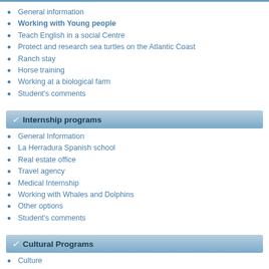General information
Working with Young people
Teach English in a social Centre
Protect and research sea turtles on the Atlantic Coast
Ranch stay
Horse training
Working at a biological farm
Student's comments
Internship programs
General Information
La Herradura Spanish school
Real estate office
Travel agency
Medical Internship
Working with Whales and Dolphins
Other options
Student's comments
Cultural Programs
Culture
Spanish language